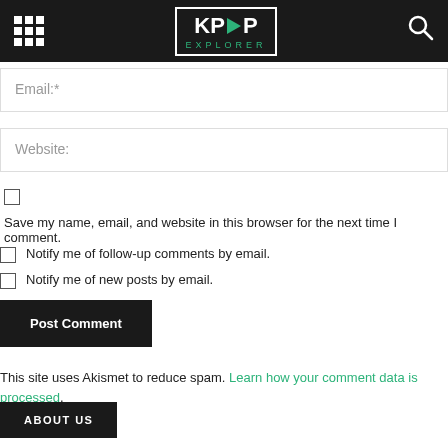KPOP EXPLORER
Email:*
Website:
Save my name, email, and website in this browser for the next time I comment.
Notify me of follow-up comments by email.
Notify me of new posts by email.
Post Comment
This site uses Akismet to reduce spam. Learn how your comment data is processed.
ABOUT US